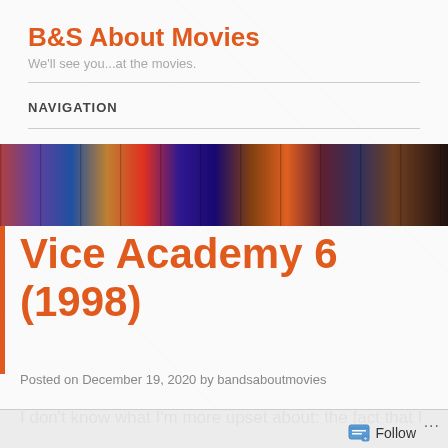B&S About Movies
We'll see you...at the movies.
NAVIGATION
[Figure (photo): Horizontal banner strip showing a collage of movie posters including horror and cult films]
Vice Academy 6 (1998)
Posted on December 19, 2020 by bandsaboutmovies
I don't know what I'm more upset about: the fact that I
Follow ...